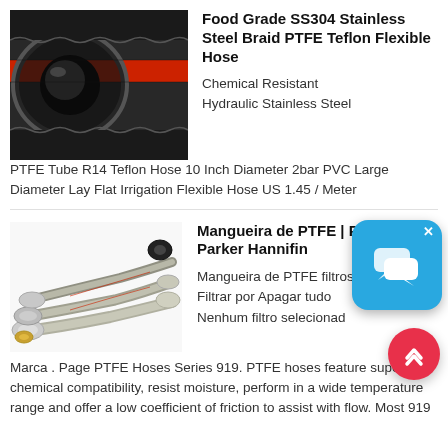[Figure (photo): Close-up photo of a black and red PTFE Teflon flexible hose with stainless steel braid]
Food Grade SS304 Stainless Steel Braid PTFE Teflon Flexible Hose
Chemical Resistant Hydraulic Stainless Steel PTFE Tube R14 Teflon Hose 10 Inch Diameter 2bar PVC Large Diameter Lay Flat Irrigation Flexible Hose US 1.45 / Meter
[Figure (photo): Photo of multiple braided PTFE hoses with metal fittings (Mangueira de PTFE)]
Mangueira de PTFE | Portugal - Parker Hannifin
Mangueira de PTFE filtros. Filtrar por Apagar tudo Nenhum filtro selecionado. Marca . Page PTFE Hoses Series 919. PTFE hoses feature superior chemical compatibility, resist moisture, perform in a wide temperature range and offer a low coefficient of friction to assist with flow. Most 919